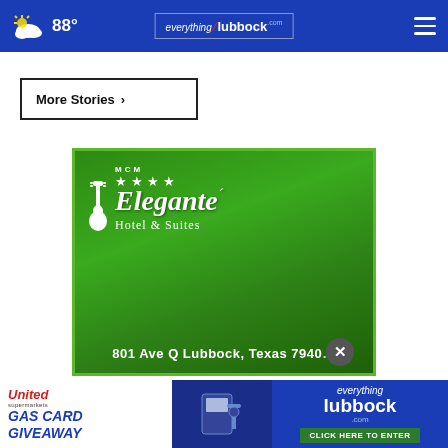88° everything/lubbock.com
More Stories ›
[Figure (photo): MCM Elegante Hotel & Suites advertisement sign on green background with stars and address: 801 Ave Q Lubbock, Texas 7940...]
[Figure (photo): Bottom banner advertisement: United Supermarkets Gas Card Giveaway - everything Lubbock .com - CLICK HERE TO ENTER]